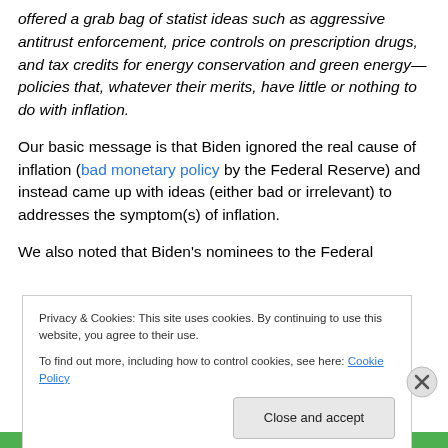offered a grab bag of statist ideas such as aggressive antitrust enforcement, price controls on prescription drugs, and tax credits for energy conservation and green energy—policies that, whatever their merits, have little or nothing to do with inflation.
Our basic message is that Biden ignored the real cause of inflation (bad monetary policy by the Federal Reserve) and instead came up with ideas (either bad or irrelevant) to addresses the symptom(s) of inflation.
We also noted that Biden's nominees to the Federal
Privacy & Cookies: This site uses cookies. By continuing to use this website, you agree to their use.
To find out more, including how to control cookies, see here: Cookie Policy
Close and accept
Advertisements